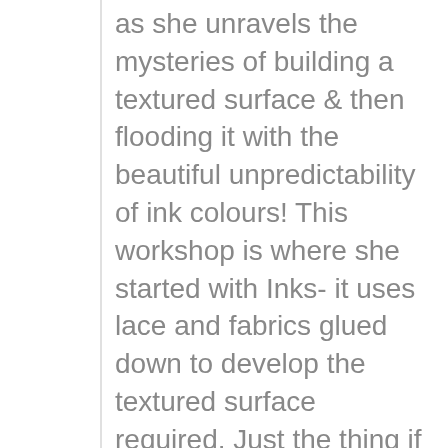as she unravels the mysteries of building a textured surface & then flooding it with the beautiful unpredictability of ink colours! This workshop is where she started with Inks- it uses lace and fabrics glued down to develop the textured surface required. Just the thing if you have some of Granny's old doilies that you would like to preserve as a thing of beauty rather than moldering in a cupboard!

Subscription gives you unlimited,